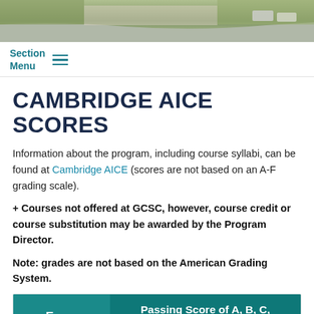[Figure (photo): Aerial photo of a campus building with parking lot and cars]
Section Menu
CAMBRIDGE AICE SCORES
Information about the program, including course syllabi, can be found at Cambridge AICE (scores are not based on an A-F grading scale).
+ Courses not offered at GCSC, however, course credit or course substitution may be awarded by the Program Director.
Note: grades are not based on the American Grading System.
| Exam | Passing Score of A, B, C, D, E |
| --- | --- |